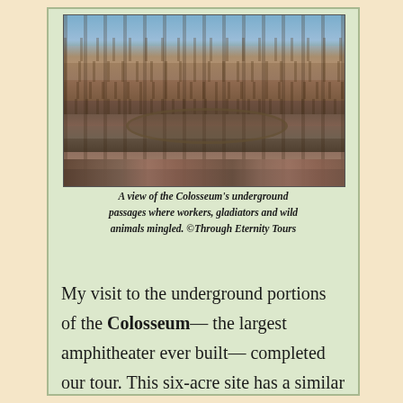[Figure (photo): Interior view of the Colosseum's underground passages (hypogeum), showing arched stone structures, multiple tiers, and tourists at the bottom floor level, taken from above under a blue sky.]
A view of the Colosseum's underground passages where workers, gladiators and wild animals mingled. ©Through Eternity Tours
My visit to the underground portions of the Colosseum— the largest amphitheater ever built— completed our tour. This six-acre site has a similar evolving past as